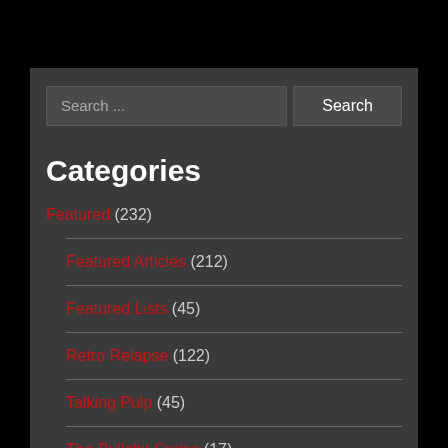Search ...
Search
Categories
Featured (232)
Featured Articles (212)
Featured Lists (45)
Retro Relapse (122)
Talking Pulp (45)
The Bullshit Series (17)
Updates (40)
Lis... (10...)